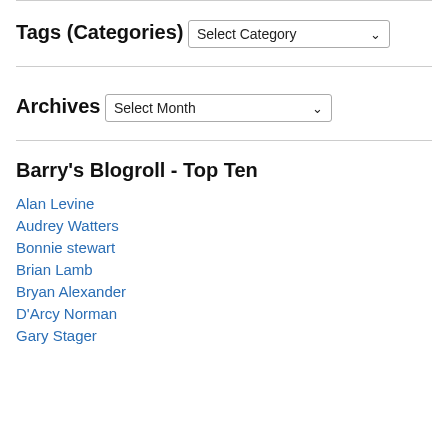Tags (Categories)
Select Category
Archives
Select Month
Barry's Blogroll - Top Ten
Alan Levine
Audrey Watters
Bonnie stewart
Brian Lamb
Bryan Alexander
D'Arcy Norman
Gary Stager